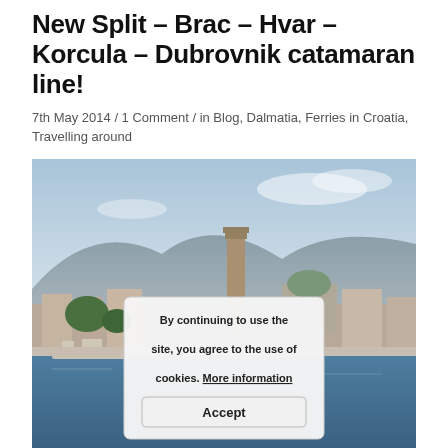New Split – Brac – Hvar – Korcula – Dubrovnik catamaran line!
7th May 2014 / 1 Comment / in Blog, Dalmatia, Ferries in Croatia, Travelling around
[Figure (photo): Photo of Split waterfront with Diocletian's Palace tower and mountains in background, with a cookie consent overlay dialog]
Bye Split! Next stop...Brac, Hvar, Korcula or Dubrovnik!